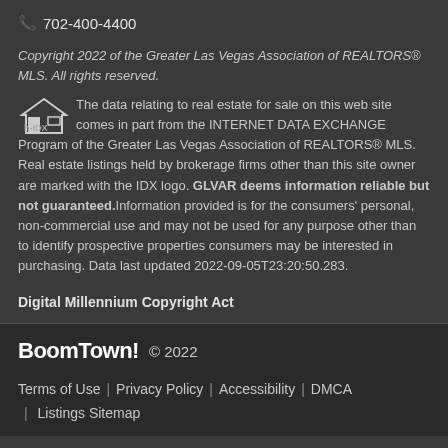📞 702-400-4400
Copyright 2022 of the Greater Las Vegas Association of REALTORS® MLS. All rights reserved.
The data relating to real estate for sale on this web site comes in part from the INTERNET DATA EXCHANGE Program of the Greater Las Vegas Association of REALTORS® MLS. Real estate listings held by brokerage firms other than this site owner are marked with the IDX logo. GLVAR deems information reliable but not guaranteed.Information provided is for the consumers' personal, non-commercial use and may not be used for any purpose other than to identify prospective properties consumers may be interested in purchasing. Data last updated 2022-09-05T23:20:50.283.
Digital Millennium Copyright Act
BoomTown! © 2022
Terms of Use | Privacy Policy | Accessibility | DMCA | Listings Sitemap